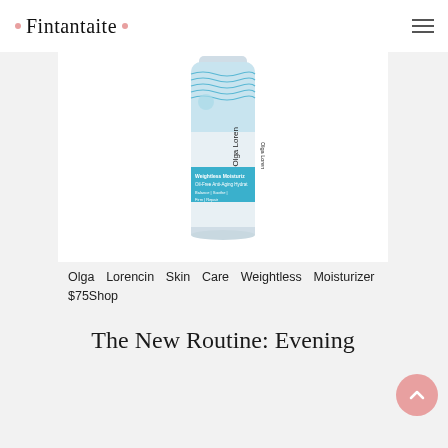· Fintantaite ·
[Figure (photo): Product photo of Olga Lorencin Skin Care Weightless Moisturizer tube/bottle with blue/teal decorative label text and branding]
Olga Lorencin Skin Care Weightless Moisturizer $75Shop
The New Routine: Evening